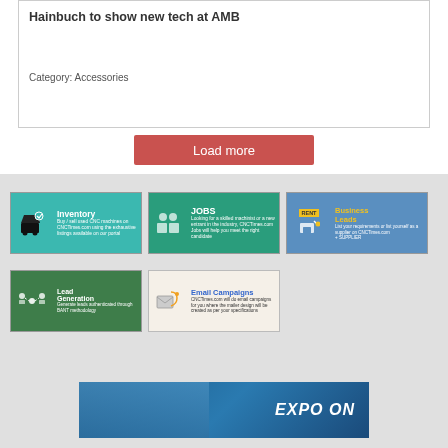Hainbuch to show new tech at AMB
Category: Accessories
Load more
[Figure (infographic): Inventory banner – buy/sell used CNC machines on CNCTimes.com using the exhaustive listings available on our portal]
[Figure (infographic): JOBS banner – Looking for a skilled machinist or a new entrant in the industry, CNCTimes.com Jobs will help you meet the right candidate]
[Figure (infographic): Business Leads banner – RENT/SUPPLIER: List your requirements or list yourself as a supplier on CNCTimes.com]
[Figure (infographic): Lead Generation banner – Manufacturer to CNCTimes: Generate leads authenticated through BANT methodology]
[Figure (infographic): Email Campaigns banner – CNCTimes.com will do email campaigns for you where the mailer design will be created as per your specifications]
[Figure (photo): EXPO ON banner with blue industrial machinery background]